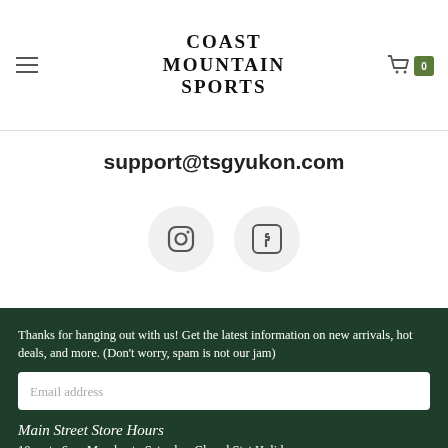Coast Mountain Sports
support@tsgyukon.com
[Figure (illustration): Instagram and Facebook social media icons in circular grey buttons]
Thanks for hanging out with us! Get the latest information on new arrivals, hot deals, and more. (Don't worry, spam is not our jam)
Email address
Main Street Store Hours
10am to 6pm Monday to Saturday, Closed Stat Holidays